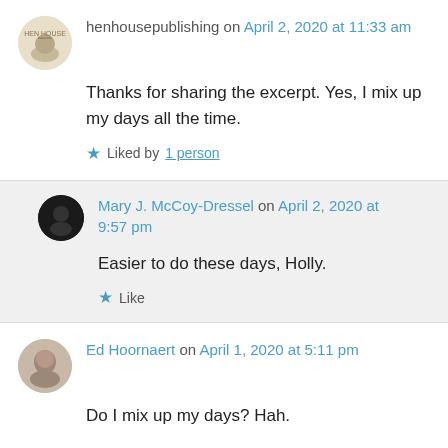henhousepublishing on April 2, 2020 at 11:33 am
Thanks for sharing the excerpt. Yes, I mix up my days all the time.
★ Liked by 1 person
Mary J. McCoy-Dressel on April 2, 2020 at 9:57 pm
Easier to do these days, Holly.
★ Like
Ed Hoornaert on April 1, 2020 at 5:11 pm
Do I mix up my days? Hah.